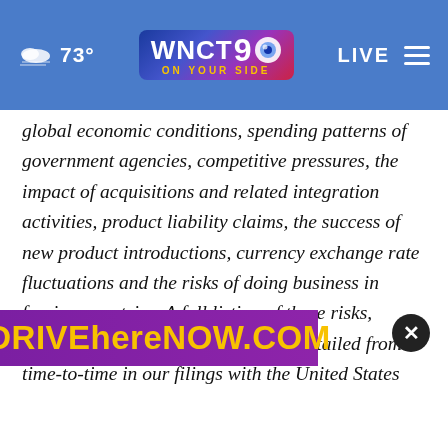WNCT 9 ON YOUR SIDE — 73° — LIVE
global economic conditions, spending patterns of government agencies, competitive pressures, the impact of acquisitions and related integration activities, product liability claims, the success of new product introductions, currency exchange rate fluctuations and the risks of doing business in foreign countries. A full listing of these risks, uncertainties and other factors are detailed from time-to-time in our filings with the United States Securities and Exchange Commission, including our most recent Form 10-K filed on February 18
[Figure (screenshot): DRIVEhereNOW.COM advertisement banner in yellow text on purple background, partially covering the article text. A close/dismiss button (×) appears to the right of the banner.]